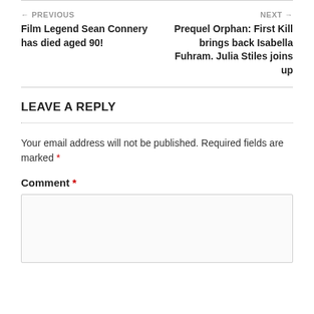← PREVIOUS
Film Legend Sean Connery has died aged 90!
NEXT →
Prequel Orphan: First Kill brings back Isabella Fuhram. Julia Stiles joins up
LEAVE A REPLY
Your email address will not be published. Required fields are marked *
Comment *